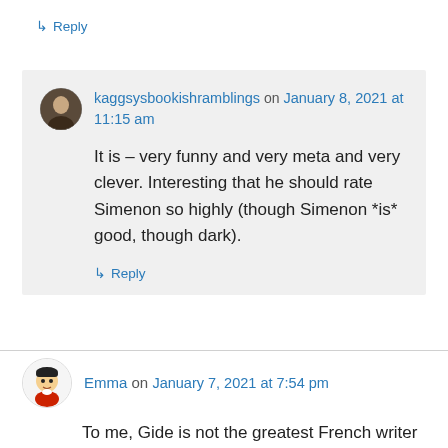↳ Reply
kaggsysbookishramblings on January 8, 2021 at 11:15 am
It is – very funny and very meta and very clever. Interesting that he should rate Simenon so highly (though Simenon *is* good, though dark).
↳ Reply
Emma on January 7, 2021 at 7:54 pm
To me, Gide is not the greatest French writer of the 20th century. Nabokov is greater than Proust...